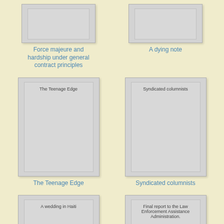[Figure (illustration): Book cover placeholder for 'Force majeure and hardship under general contract principles']
Force majeure and hardship under general contract principles
[Figure (illustration): Book cover placeholder for 'A dying note']
A dying note
[Figure (illustration): Book cover placeholder for 'The Teenage Edge']
The Teenage Edge
[Figure (illustration): Book cover placeholder for 'Syndicated columnists']
Syndicated columnists
[Figure (illustration): Book cover placeholder for 'A wedding in Haiti']
[Figure (illustration): Book cover placeholder for 'Final report to the Law Enforcement Assistance Administration.']